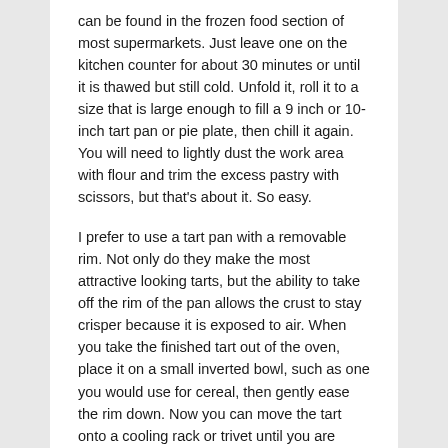can be found in the frozen food section of most supermarkets. Just leave one on the kitchen counter for about 30 minutes or until it is thawed but still cold. Unfold it, roll it to a size that is large enough to fill a 9 inch or 10-inch tart pan or pie plate, then chill it again. You will need to lightly dust the work area with flour and trim the excess pastry with scissors, but that's about it. So easy.
I prefer to use a tart pan with a removable rim. Not only do they make the most attractive looking tarts, but the ability to take off the rim of the pan allows the crust to stay crisper because it is exposed to air. When you take the finished tart out of the oven, place it on a small inverted bowl, such as one you would use for cereal, then gently ease the rim down. Now you can move the tart onto a cooling rack or trivet until you are ready to serve it.
If you only have a glass pie plate, after you fill it with the rolled out crust,  just chill rather than freeze it. The point is to have a cold crust go into a hot oven; that will make the flakiest crust. A frozen glass pie plate could break in a hot